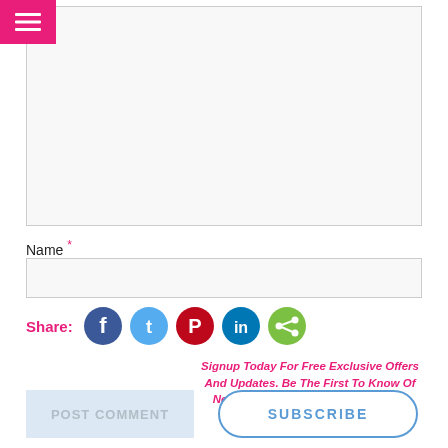[Figure (screenshot): Pink hamburger menu button in top-left corner]
[Figure (screenshot): Large empty text area input box with light gray border]
Name *
[Figure (screenshot): Name input field with light gray border]
Share:
[Figure (infographic): Social share icons: Facebook (dark blue circle), Twitter (light blue circle), Pinterest (red circle), LinkedIn (dark blue circle), Share (green circle)]
Signup Today For Free Exclusive Offers And Updates. Be The First To Know Of New Bingo Sites Bonuses And Free Spin Offers.
POST COMMENT
SUBSCRIBE